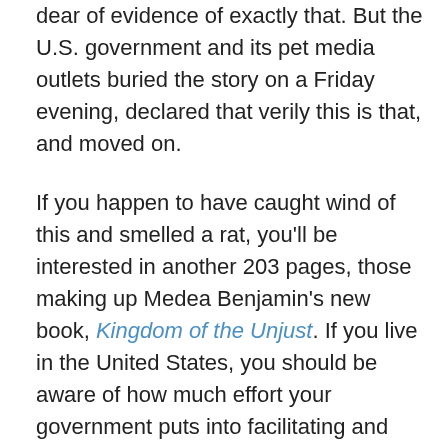dear of evidence of exactly that. But the U.S. government and its pet media outlets buried the story on a Friday evening, declared that verily this is that, and moved on.
If you happen to have caught wind of this and smelled a rat, you'll be interested in another 203 pages, those making up Medea Benjamin's new book, Kingdom of the Unjust. If you live in the United States, you should be aware of how much effort your government puts into facilitating and defending the crimes of Saudi Arabia in the United States, in Saudi Arabia, and in places like Bahrain, Yemen, Syria, Nigeria, etc. If you pay U.S. taxes, you should know what you're buying. If you work for a U.S. weapons maker, you should know who's buying what you make, and what they're using it for. If you drive a car, you may be helping to destroy the earth's climate while funding the Saudi